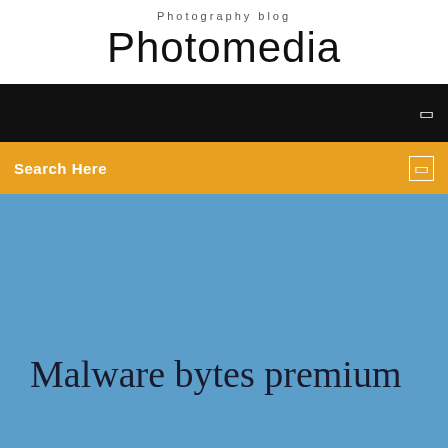Photography blog
Photomedia
[Figure (screenshot): Black navigation bar with a small white icon on the right side]
[Figure (screenshot): Orange/amber search bar with 'Search Here' text on the left and a small icon on the right]
Malware bytes premium